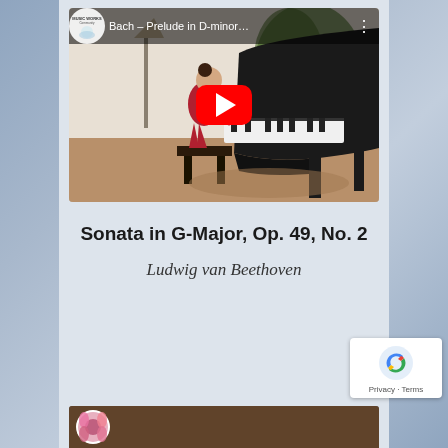[Figure (screenshot): YouTube video thumbnail showing a young girl in a red dress playing a grand piano in a room with plants. Video title: 'Bach - Prelude in D-minor...' with a Music Works Community logo and a red play button overlay.]
Sonata in G-Major, Op. 49, No. 2
Ludwig van Beethoven
[Figure (screenshot): Partial thumbnail of another video at the bottom of the page, showing flowers and a circular logo.]